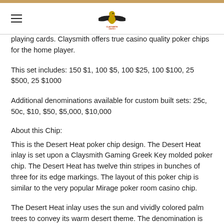Claysmith Gaming logo and hamburger menu
playing cards. Claysmith offers true casino quality poker chips for the home player.
This set includes: 150 $1, 100 $5, 100 $25, 100 $100, 25 $500, 25 $1000
Additional denominations available for custom built sets: 25c, 50c, $10, $50, $5,000, $10,000
About this Chip:
This is the Desert Heat poker chip design. The Desert Heat inlay is set upon a Claysmith Gaming Greek Key molded poker chip. The Desert Heat has twelve thin stripes in bunches of three for its edge markings. The layout of this poker chip is similar to the very popular Mirage poker room casino chip.
The Desert Heat inlay uses the sun and vividly colored palm trees to convey its warm desert theme. The denomination is well placed